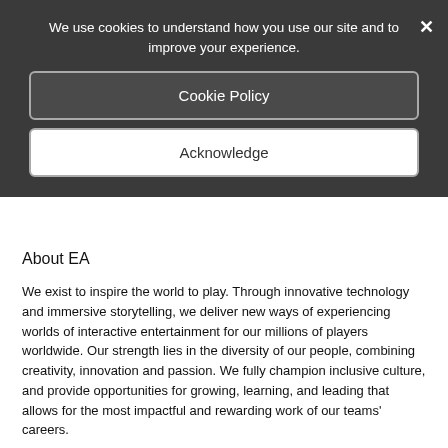We use cookies to understand how you use our site and to improve your experience.
Cookie Policy
Acknowledge
About EA
We exist to inspire the world to play. Through innovative technology and immersive storytelling, we deliver new ways of experiencing worlds of interactive entertainment for our millions of players worldwide. Our strength lies in the diversity of our people, combining creativity, innovation and passion. We fully champion inclusive culture, and provide opportunities for growing, learning, and leading that allows for the most impactful and rewarding work of our teams' careers.
We put our people first, and we make sure they're taken care of both in and out of the office. As we reflect on our learnings and successes from remote work, we aim to provide dynamic, collaborative and flexible work environments for our teams. Our employees connect through our Employee Resource